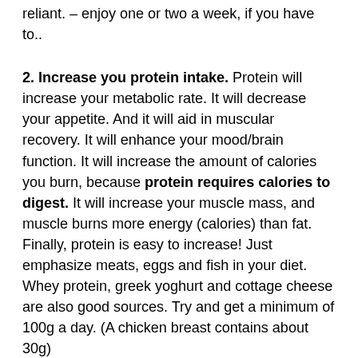reliant. – enjoy one or two a week, if you have to..
2. Increase you protein intake. Protein will increase your metabolic rate. It will decrease your appetite. And it will aid in muscular recovery. It will enhance your mood/brain function. It will increase the amount of calories you burn, because protein requires calories to digest. It will increase your muscle mass, and muscle burns more energy (calories) than fat. Finally, protein is easy to increase! Just emphasize meats, eggs and fish in your diet. Whey protein, greek yoghurt and cottage cheese are also good sources. Try and get a minimum of 100g a day. (A chicken breast contains about 30g)
3. Increase your water intake. Water is good because it generally decreases appetite. Most people mistake hunger for thirst. When you think you are hungry, drink a glass of